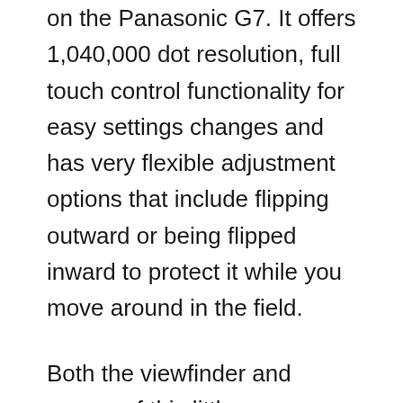on the Panasonic G7. It offers 1,040,000 dot resolution, full touch control functionality for easy settings changes and has very flexible adjustment options that include flipping outward or being flipped inward to protect it while you move around in the field.
Both the viewfinder and screen of this little camera offer up a great photo adjustment and shooting experience. We like it more than that of the Sony cameras ranked above and the visuals inside the electronic viewfinder look exceptionally crisp and bright.